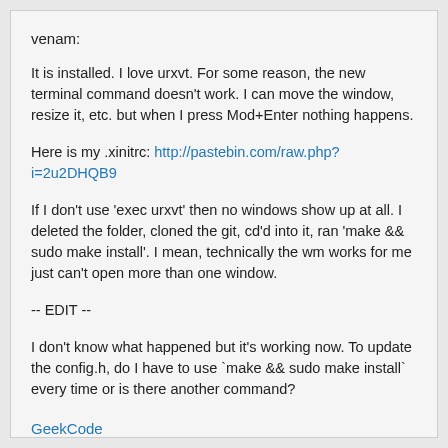venam:
It is installed. I love urxvt. For some reason, the new terminal command doesn't work. I can move the window, resize it, etc. but when I press Mod+Enter nothing happens.
Here is my .xinitrc: http://pastebin.com/raw.php?i=2u2DHQB9
If I don't use 'exec urxvt' then no windows show up at all. I deleted the folder, cloned the git, cd'd into it, ran 'make && sudo make install'. I mean, technically the wm works for me just can't open more than one window.
-- EDIT --
I don't know what happened but it's working now. To update the config.h, do I have to use `make && sudo make install` every time or is there another command?
GeekCode